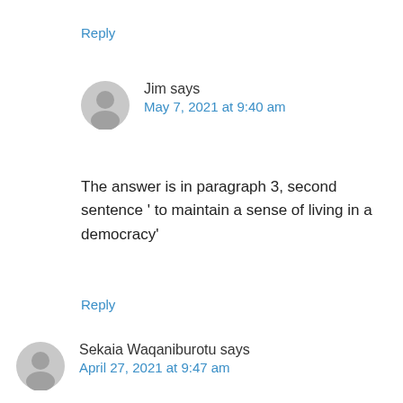Reply
Jim says
May 7, 2021 at 9:40 am
The answer is in paragraph 3, second sentence ‘ to maintain a sense of living in a democracy’
Reply
Sekaia Waqaniburotu says
April 27, 2021 at 9:47 am